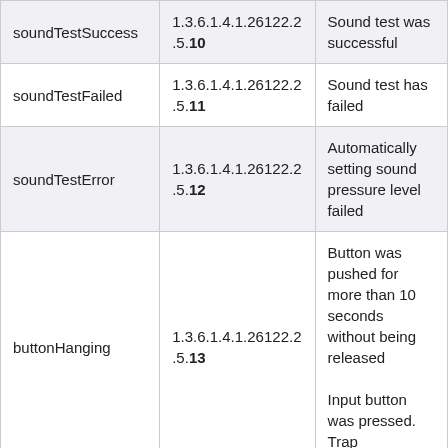| soundTestSuccess | 1.3.6.1.4.1.26122.2.5.10 | Sound test was successful |
| soundTestFailed | 1.3.6.1.4.1.26122.2.5.11 | Sound test has failed |
| soundTestError | 1.3.6.1.4.1.26122.2.5.12 | Automatically setting sound pressure level failed |
| buttonHanging | 1.3.6.1.4.1.26122.2.5.13 | Button was pushed for more than 10 seconds without being released

Input button was pressed. Trap |